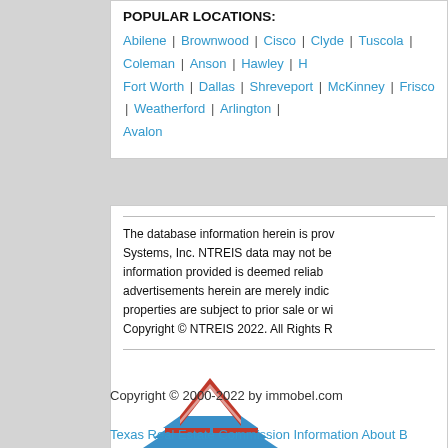POPULAR LOCATIONS:
Abilene | Brownwood | Cisco | Clyde | Tuscola | Coleman | Anson | Hawley | H... Fort Worth | Dallas | Shreveport | McKinney | Frisco | Weatherford | Arlington | ... Avalon
The database information herein is provided by North Texas Real Estate Information Systems, Inc. NTREIS data may not be reproduced or redistributed and is only for people viewing this site. The information provided is deemed reliable but is not guaranteed accurate by the MLS. All properties are subject to prior sale or withdrawal. Copyright © NTREIS 2022. All Rights Reserved.
[Figure (logo): NTREIS logo with stylized house/building shapes in red and blue above the word 'ntreis' in dark gray]
Copyright © 2000-2022 by immobel.com
Texas Real Estate Commission Information About B...